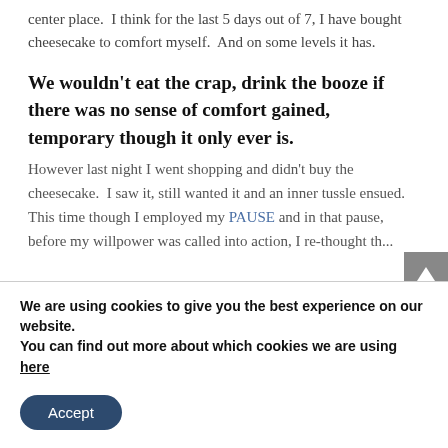center place.  I think for the last 5 days out of 7, I have bought cheesecake to comfort myself.  And on some levels it has.
We wouldn't eat the crap, drink the booze if there was no sense of comfort gained, temporary though it only ever is.
However last night I went shopping and didn't buy the cheesecake.  I saw it, still wanted it and an inner tussle ensued. This time though I employed my PAUSE and in that pause, before my willpower was called into action, I re-thought th...
We are using cookies to give you the best experience on our website.
You can find out more about which cookies we are using here
Accept